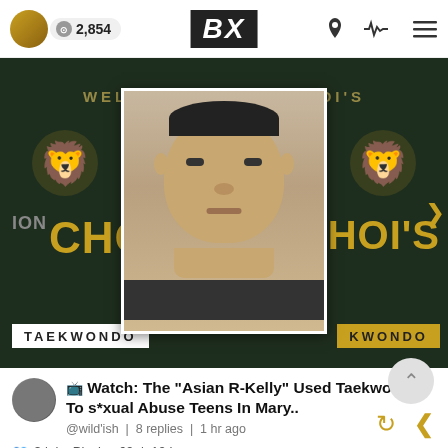BX  2,854
[Figure (photo): Screenshot of a social media post showing a Taekwondo school sign (Lion Choi's Taekwondo) in the background with a mugshot photo of a man overlaid in the center.]
📺 Watch: The "Asian R-Kelly" Used Taekwondo To s*xual Abuse Teens In Mary..
@wild'ish  |  8 replies  |  1 hr ago
👥 2  |  by Playboy69  |  10 hr